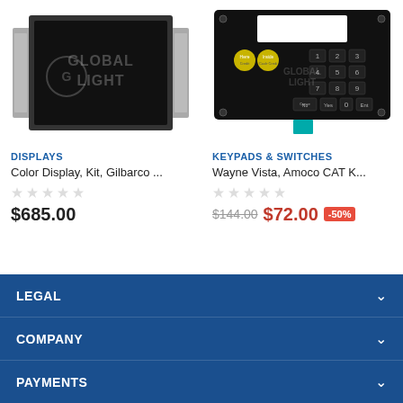[Figure (photo): LCD display module with metal bracket housing, black screen, Global Light watermark]
[Figure (photo): Wayne Vista Amoco CAT keypad with black membrane, yellow buttons, numeric keys, and ribbon connector. Global Light watermark.]
DISPLAYS
Color Display, Kit, Gilbarco ...
★★★★★ (empty stars)
$685.00
KEYPADS & SWITCHES
Wayne Vista, Amoco CAT K...
★★★★★ (empty stars)
$144.00 $72.00 -50%
LEGAL
COMPANY
PAYMENTS